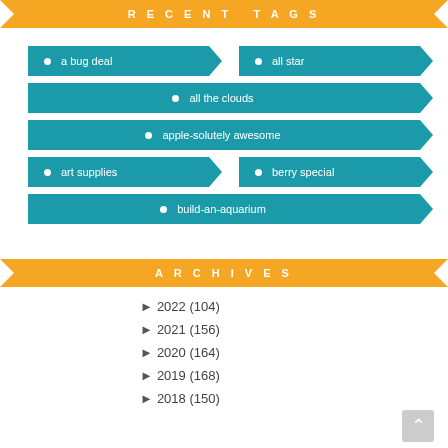RECENT TAGS
a bug deal
all star
all the clouds
apple-solutely awesome
art supplies
berry special
build-an-aquarium
ARCHIVES
► 2022 (104)
► 2021 (156)
► 2020 (164)
► 2019 (168)
► 2018 (150)